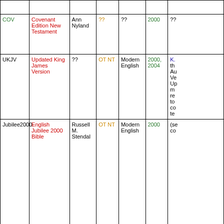| Abbreviation | Name | Translator | Coverage | Language | Year | Notes |
| --- | --- | --- | --- | --- | --- | --- |
|  |  |  |  |  |  |  |
| COV | Covenant Edition New Testament | Ann Nyland | ?? | ?? | 2000 | ?? |
| UKJV | Updated King James Version | ?? | OT NT | Modern English | 2000, 2004 | K... the Au Ve Up m re to co te |
| Jubilee2000 | English Jubilee 2000 Bible | Russell M. Stendal | OT NT | Modern English | 2000 | (se co |